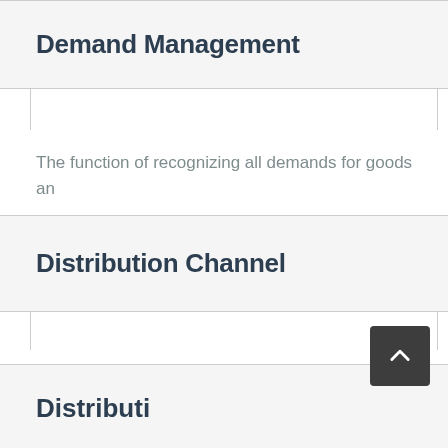Demand Management
The function of recognizing all demands for goods an
Distribution Channel
The distribution route, from raw materials through co
Distribution Channel Re